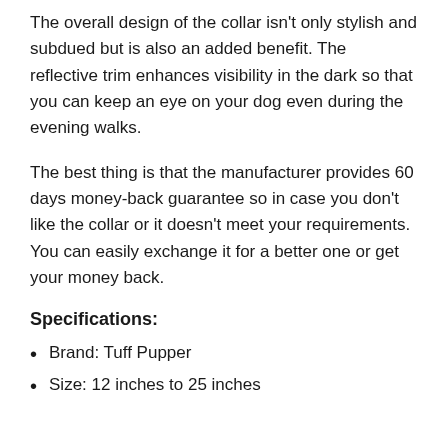The overall design of the collar isn't only stylish and subdued but is also an added benefit. The reflective trim enhances visibility in the dark so that you can keep an eye on your dog even during the evening walks.
The best thing is that the manufacturer provides 60 days money-back guarantee so in case you don't like the collar or it doesn't meet your requirements. You can easily exchange it for a better one or get your money back.
Specifications:
Brand: Tuff Pupper
Size: 12 inches to 25 inches